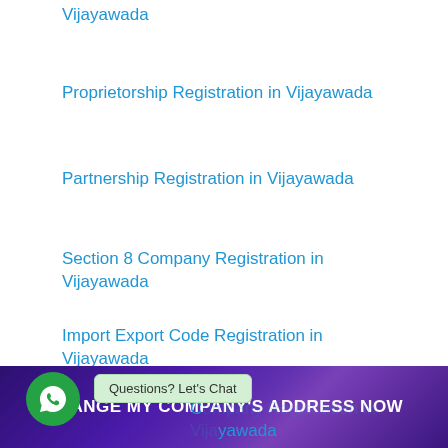Vijayawada
Proprietorship Registration in Vijayawada
Partnership Registration in Vijayawada
Section 8 Company Registration in Vijayawada
Import Export Code Registration in Vijayawada
C...yawada
[Figure (illustration): WhatsApp green circle icon with phone/chat symbol, and a light green tooltip reading 'Questions? Let's Chat']
CHANGE MY COMPANY'S ADDRESS NOW